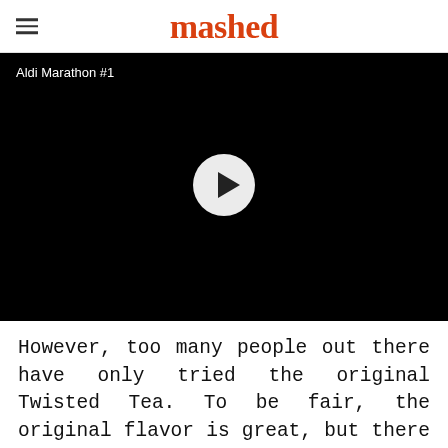mashed
[Figure (screenshot): Black video player thumbnail with white text 'Aldi Marathon #1' in top-left and a white circular play button in the center]
However, too many people out there have only tried the original Twisted Tea. To be fair, the original flavor is great, but there are so, so many other options to choose from. And if you want to expand your horizons and experience a new flavor